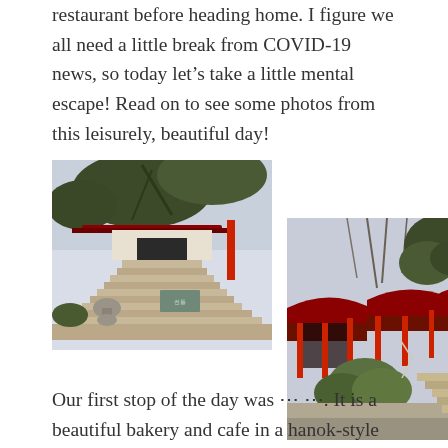restaurant before heading home. I figure we all need a little break from COVID-19 news, so today let's take a little mental escape! Read on to see some photos from this leisurely, beautiful day!
[Figure (photo): Photo of a Korean hanok-style building entrance with stone stairs, traditional tiled roof gate, pine trees, and stone lantern/statue in the foreground]
[Figure (photo): Photo of a Korean hanok-style building complex with red columns/pillars, traditional curved tiled roofs, pine trees, stone steps, and winter bare trees in background]
Our first stop of the day was … …. It is a beautiful bakery and cafe in a hanok-style building and they have a wide variety of pastries, breads, and warm